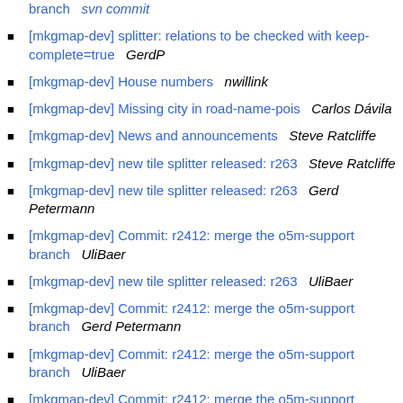branch   svn commit
[mkgmap-dev] splitter: relations to be checked with keep-complete=true    GerdP
[mkgmap-dev] House numbers   nwillink
[mkgmap-dev] Missing city in road-name-pois   Carlos Dávila
[mkgmap-dev] News and announcements   Steve Ratcliffe
[mkgmap-dev] new tile splitter released: r263   Steve Ratcliffe
[mkgmap-dev] new tile splitter released: r263   Gerd Petermann
[mkgmap-dev] Commit: r2412: merge the o5m-support branch   UliBaer
[mkgmap-dev] new tile splitter released: r263   UliBaer
[mkgmap-dev] Commit: r2412: merge the o5m-support branch   Gerd Petermann
[mkgmap-dev] Commit: r2412: merge the o5m-support branch   UliBaer
[mkgmap-dev] Commit: r2412: merge the o5m-support